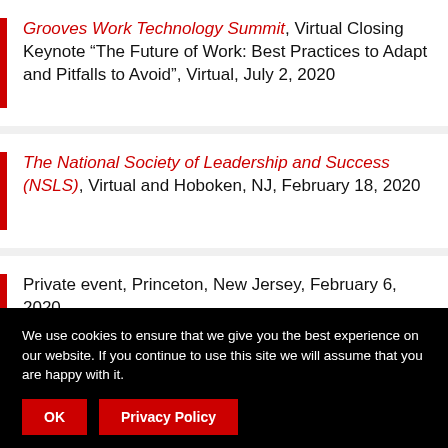Grooves Work Technology Summit, Virtual Closing Keynote “The Future of Work: Best Practices to Adapt and Pitfalls to Avoid”, Virtual, July 2, 2020
The National Society of Leadership and Success (NSLS), Virtual and Hoboken, NJ, February 18, 2020
Private event, Princeton, New Jersey, February 6, 2020
We use cookies to ensure that we give you the best experience on our website. If you continue to use this site we will assume that you are happy with it.